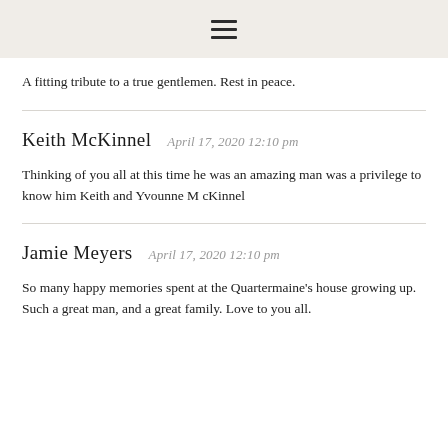☰
A fitting tribute to a true gentlemen. Rest in peace.
Keith McKinnel   April 17, 2020 12:10 pm
Thinking of you all at this time he was an amazing man was a privilege to know him Keith and Yvounne M cKinnel
Jamie Meyers   April 17, 2020 12:10 pm
So many happy memories spent at the Quartermaine's house growing up. Such a great man, and a great family. Love to you all.